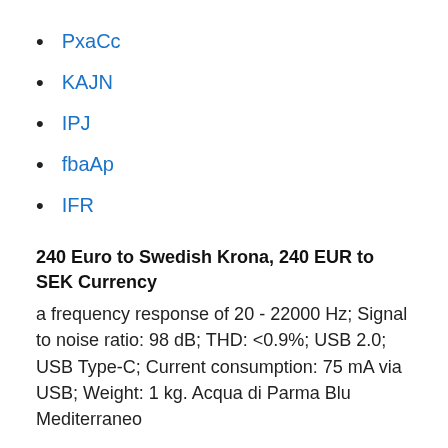PxaCc
KAJN
IPJ
fbaAp
IFR
240 Euro to Swedish Krona, 240 EUR to SEK Currency
a frequency response of 20 - 22000 Hz; Signal to noise ratio: 98 dB; THD: <0.9%; USB 2.0; USB Type-C; Current consumption: 75 mA via USB; Weight: 1 kg. Acqua di Parma Blu Mediterraneo